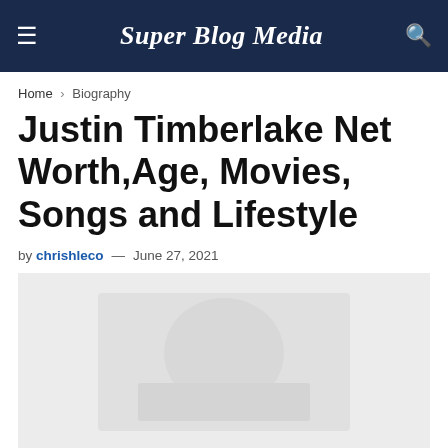Super Blog Media
Home › Biography
Justin Timberlake Net Worth,Age, Movies, Songs and Lifestyle
by chrishleco — June 27, 2021
[Figure (photo): Featured image placeholder for Justin Timberlake article, light gray background]